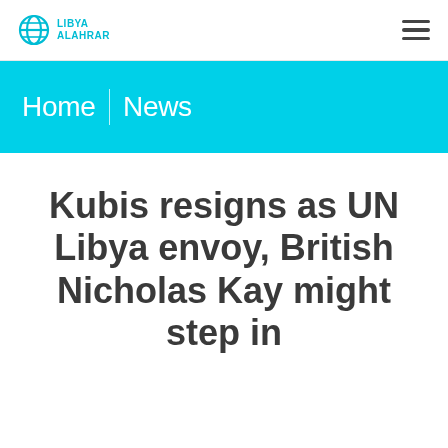[Figure (logo): Libya Alahrar logo with globe icon and text]
Home | News
Kubis resigns as UN Libya envoy, British Nicholas Kay might step in